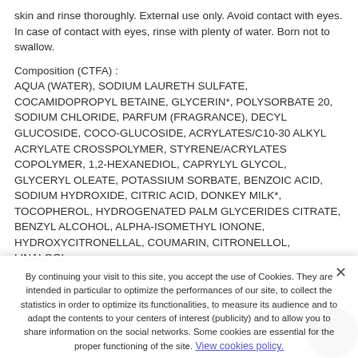skin and rinse thoroughly. External use only. Avoid contact with eyes. In case of contact with eyes, rinse with plenty of water. Born not to swallow.
Composition (CTFA) : AQUA (WATER), SODIUM LAURETH SULFATE, COCAMIDOPROPYL BETAINE, GLYCERIN*, POLYSORBATE 20, SODIUM CHLORIDE, PARFUM (FRAGRANCE), DECYL GLUCOSIDE, COCO-GLUCOSIDE, ACRYLATES/C10-30 ALKYL ACRYLATE CROSSPOLYMER, STYRENE/ACRYLATES COPOLYMER, 1,2-HEXANEDIOL, CAPRYLYL GLYCOL, GLYCERYL OLEATE, POTASSIUM SORBATE, BENZOIC ACID, SODIUM HYDROXIDE, CITRIC ACID, DONKEY MILK*, TOCOPHEROL, HYDROGENATED PALM GLYCERIDES CITRATE, BENZYL ALCOHOL, ALPHA-ISOMETHYL IONONE, HYDROXYCITRONELLAL, COUMARIN, CITRONELLOL, LINALOOL
* ingredients from organic farming.
By continuing your visit to this site, you accept the use of Cookies. They are intended in particular to optimize the performances of our site, to collect the statistics in order to optimize its functionalities, to measure its audience and to adapt the contents to your centers of interest (publicity) and to allow you to share information on the social networks. Some cookies are essential for the proper functioning of the site. View cookies policy.
You might also like